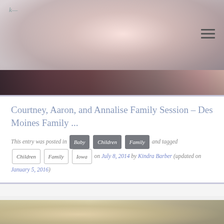[Figure (photo): Top section: blurred photo of a young child's face with light background, website logo top-left, hamburger menu icon top-right, with a dark strip at bottom showing partial view of a person in floral clothing]
Courtney, Aaron, and Annalise Family Session – Des Moines Family ...
This entry was posted in Baby Children Family and tagged Children Family Iowa on July 8, 2014 by Kindra Barber (updated on January 5, 2016)
[Figure (photo): Bottom partial photo showing two people (blonde woman and dark-haired person) looking downward indoors]